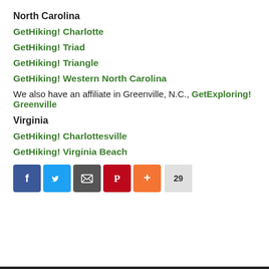North Carolina
GetHiking! Charlotte
GetHiking! Triad
GetHiking! Triangle
GetHiking! Western North Carolina
We also have an affiliate in Greenville, N.C., GetExploring! Greenville
Virginia
GetHiking! Charlottesville
GetHiking! Virginia Beach
[Figure (infographic): Social share buttons: Facebook, Twitter, Email, Pinterest, More (+), and share count of 29]